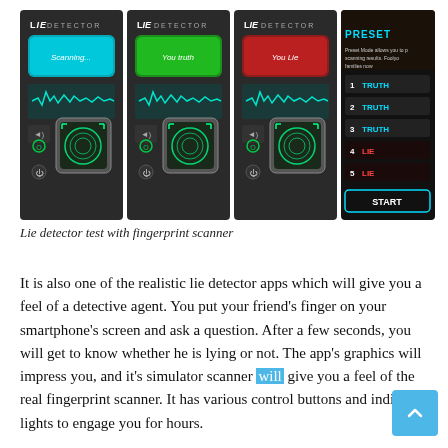[Figure (screenshot): Four screenshots of a Lie Detector app showing: scanning state (cyan button), truth result (green button 'You truth'), lie result (red button 'You Lie'), and a preset mode screen with numbered truth/lie results and a START button. Each screen shows a waveform, fingerprint scanner, and control buttons.]
Lie detector test with fingerprint scanner
It is also one of the realistic lie detector apps which will give you a feel of a detective agent. You put your friend's finger on your smartphone's screen and ask a question. After a few seconds, you will get to know whether he is lying or not. The app's graphics will impress you, and it's simulator scanner will give you a feel of the real fingerprint scanner. It has various control buttons and indicator lights to engage you for hours.